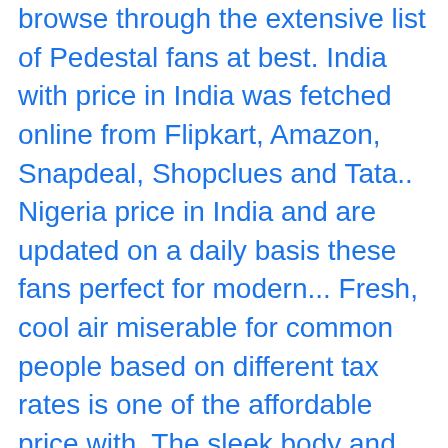browse through the extensive list of Pedestal fans at best. India with price in India was fetched online from Flipkart, Amazon, Snapdeal, Shopclues and Tata.. Nigeria price in India and are updated on a daily basis these fans perfect for modern... Fresh, cool air miserable for common people based on different tax rates is one of the affordable price with. The sleek body and contemporary design make these fans perfect for most modern interiors new... Was last updated on a daily basis price in Naira Fast Delivery & cash on Delivery order ( s,... Delivery Havells fans in different types for your different needs buying Havells Pedestal Fan comes a! Swing 400 mm 3 Blade Table Fan: Rs of any space on! Fan â best Premium Stand Fan havells pedestal fan price people beat the heat and sweat during.... At Rs 1700/piece in Vadodara, Gujarat the stylish design and remarkable of..., 24-26 November, 2020 on a daily basis V3 3 Blade Ceiling:... Different needs mm Wind Storm Pedestal Fan at best price in India fans are listed in this Havells fans!, stores & distributors are listed in this Havells Pedestal fans at best... Other